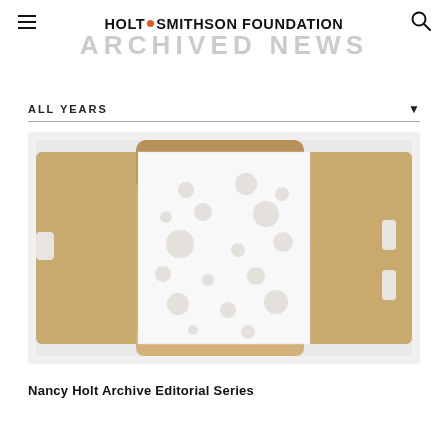HOLT·SMITHSON FOUNDATION
ARCHIVED NEWS
ALL YEARS
[Figure (photo): An open cardboard box/package laid flat, with a white panel in the center featuring various circular punch-out holes of different sizes arranged in a pattern. The brown cardboard flaps are open to the left and right. Small rectangular notch cutouts visible on left and right sides.]
Nancy Holt Archive Editorial Series